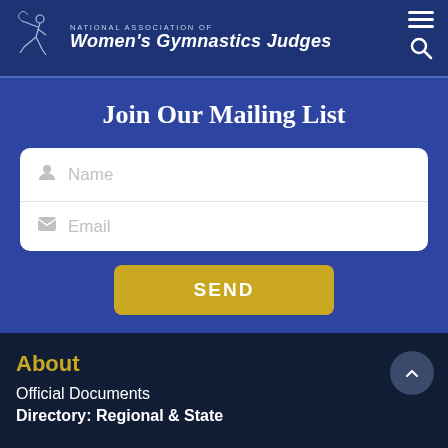[Figure (logo): National Association of Women's Gymnastics Judges logo with gymnast silhouette and organization name]
Join Our Mailing List
[Figure (screenshot): Web form with Name and Email input fields]
[Figure (other): SEND button in gold/yellow color]
About
Official Documents
Directory: Regional & State